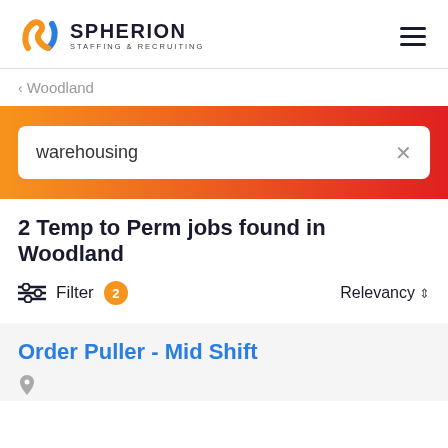Spherion Staffing & Recruiting
< Woodland
warehousing
2 Temp to Perm jobs found in Woodland
Filter 2   Relevancy
Order Puller - Mid Shift
Woodland, California